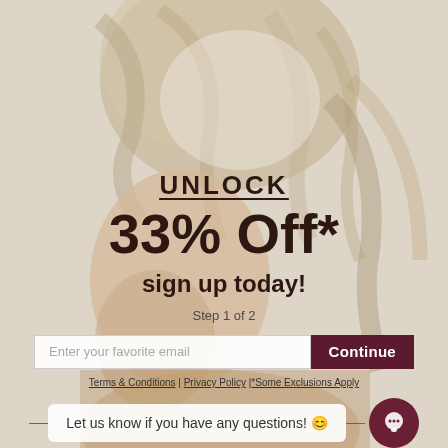[Figure (photo): Background photo of a blonde woman with short wavy hair, face partially turned, wearing a knit top, on a light beige background.]
UNLOCK
33% Off*
sign up today!
Step 1 of 2
Enter your favorite email
Continue
Terms & Conditions | Privacy Policy |*Some Exclusions Apply
Let us know if you have any questions! 😊